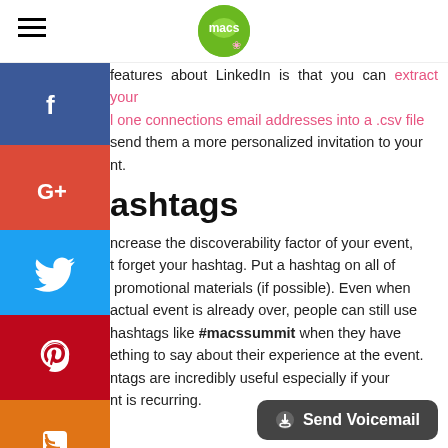macs (logo)
features about LinkedIn is that you can extract your all one connections email addresses into a .csv file send them a more personalized invitation to your nt.
ashtags
ncrease the discoverability factor of your event, t forget your hashtag. Put a hashtag on all of promotional materials (if possible). Even when actual event is already over, people can still use hashtags like #macssummit when they have ething to say about their experience at the event. ntags are incredibly useful especially if your nt is recurring.